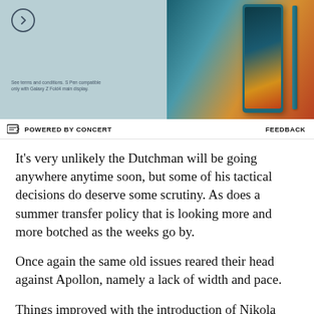[Figure (screenshot): Advertisement banner showing a teal/green Samsung Galaxy Z Fold4 phone with S Pen, on a blue-green background. A circle arrow button and fine print text are on the left side.]
POWERED BY CONCERT   FEEDBACK
It's very unlikely the Dutchman will be going anywhere anytime soon, but some of his tactical decisions do deserve some scrutiny. As does a summer transfer policy that is looking more and more botched as the weeks go by.
Once again the same old issues reared their head against Apollon, namely a lack of width and pace.
Things improved with the introduction of Nikola Vlasic and Dominic Calvert-Lewin. And with Oumar Niasse also available to return, Everton's frontline may finally be some of the above with frontline had a de all